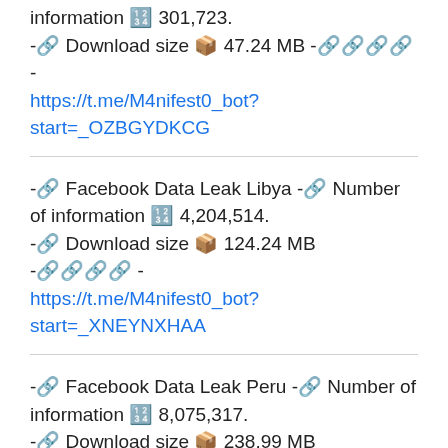information 🔢 301,723.
-🔗 Download size 📦 47.24 MB -🔗🔗🔗🔗 -
https://t.me/M4nifest0_bot?start=_OZBGYDKCG
-🔗 Facebook Data Leak Libya -🔗 Number of information 🔢 4,204,514.
-🔗 Download size 📦 124.24 MB -🔗🔗🔗🔗 -
https://t.me/M4nifest0_bot?start=_XNEYNXHAA
-🔗 Facebook Data Leak Peru -🔗 Number of information 🔢 8,075,317.
-🔗 Download size 📦 238.99 MB -🔗🔗🔗🔗 -
https://t.me/M4nifest0_bot?start=_RAQJNGPGH